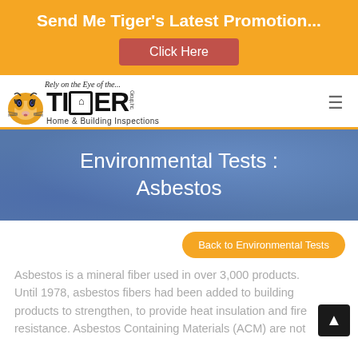Send Me Tiger's Latest Promotion...
Click Here
[Figure (logo): Tiger Group Inc. Home & Building Inspections logo with tiger image and tagline 'Rely on the Eye of the...']
Environmental Tests : Asbestos
Back to Environmental Tests
Asbestos is a mineral fiber used in over 3,000 products. Until 1978, asbestos fibers had been added to building products to strengthen, to provide heat insulation and fire resistance. Asbestos Containing Materials (ACM) are not